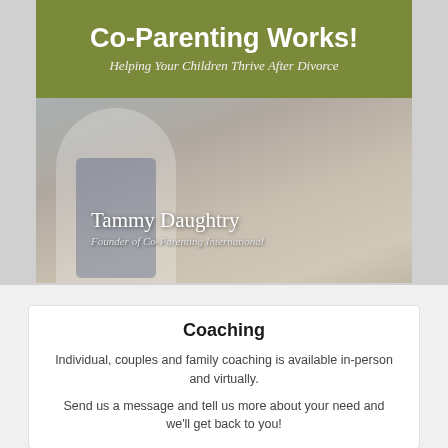[Figure (photo): Book cover image for 'Co-Parenting Works! Helping Your Children Thrive After Divorce' by Tammy Daughtry, Founder of Co-Parenting International. Shows olive/green banner at top with title, below is a photo of a child in jeans and white shirt with author name overlaid.]
Coaching
Individual, couples and family coaching is available in-person and virtually.
Send us a message and tell us more about your need and we'll get back to you!